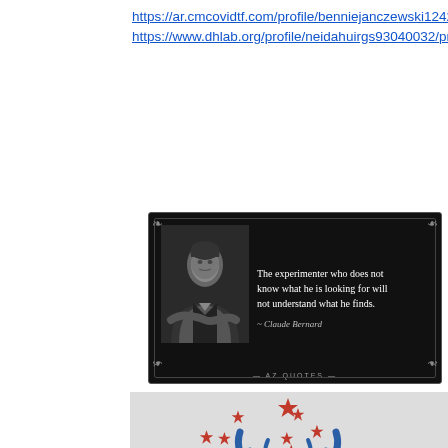https://ar.cmcovidtf.com/profile/benniejanczewski12429857/profile https://www.dhlab.org/profile/neidahuirgs93040032/profile
[Figure (photo): Dark themed quote card with black background, portrait photo of Claude Bernard (older man in 19th century attire with arms crossed), and text quote: 'The experimenter who does not know what he is looking for will not understand what he finds.' ~ Claude Bernard. AZ QUOTES logo at bottom.]
[Figure (logo): Health Revival Partners logo on gray background: stylized blue tree with hands as trunk/roots, red stars as leaves/fruit, with company name 'Health Revival Partners' and telephone number 'Tel: 202-630-3221' below. A purple circular chat button in bottom right.]